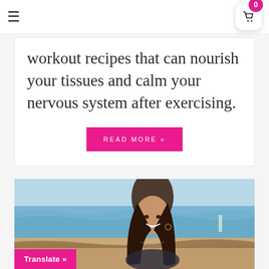≡  [cart icon] 0
workout recipes that can nourish your tissues and calm your nervous system after exercising.
READ MORE »
[Figure (photo): A smiling young woman with long dark hair at a beach, ocean and sandy shore in background, people visible in distance]
Translate »